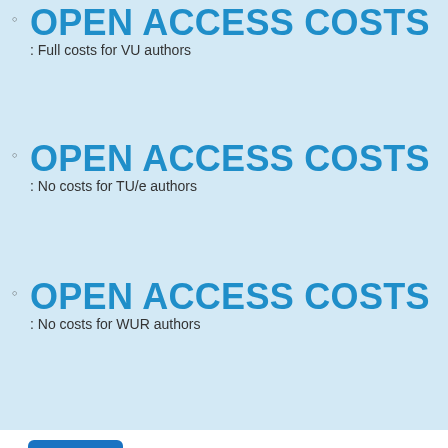OPEN ACCESS COSTS: Full costs for VU authors
OPEN ACCESS COSTS: No costs for TU/e authors
OPEN ACCESS COSTS: No costs for WUR authors
Filters
Records 1 - 20 / 44
Sort by
Aslib Journal of Information ManagementContinuation of: Aslib Proceedings
Emerald
Full APC costs for VU/VUMC authors (no discount)